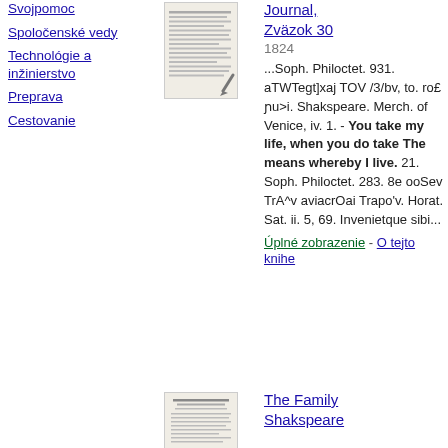Svojpomoc
Spoločenské vedy
Technológie a inžinierstvo
Preprava
Cestovanie
[Figure (illustration): Thumbnail of a book page with handwritten or printed text lines and a pen icon]
Journal, Zväzok 30
1824
...Soph. Philoctet. 931. aTWTegt]xaj TOV /3/bv, to. ro£ ɲu>i. Shakspeare. Merch. of Venice, iv. 1. - You take my life, when you do take The means whereby I live. 21. Soph. Philoctet. 283. 8e ooSev TrA^v aviacrOai Trapo'v. Horat. Sat. ii. 5, 69. Invenietque sibi...
Úplné zobrazenie - O tejto knihe
[Figure (illustration): Thumbnail of a book cover for The Family Shakspeare]
The Family Shakspeare